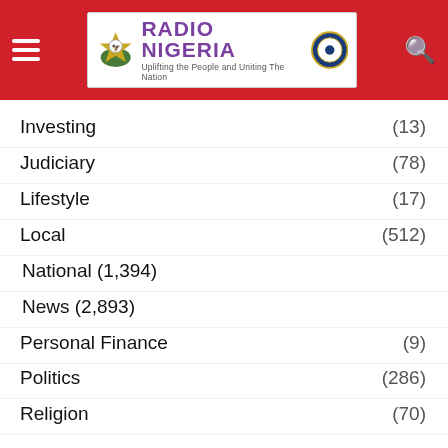Radio Nigeria — Uplifting the People and Uniting The Nation
Investing (13)
Judiciary (78)
Lifestyle (17)
Local (512)
National (1,394)
News (2,893)
Personal Finance (9)
Politics (286)
Religion (70)
Security (126)
Special Report (7)
Sport (...)
Stock Market (8)
Trending (7)